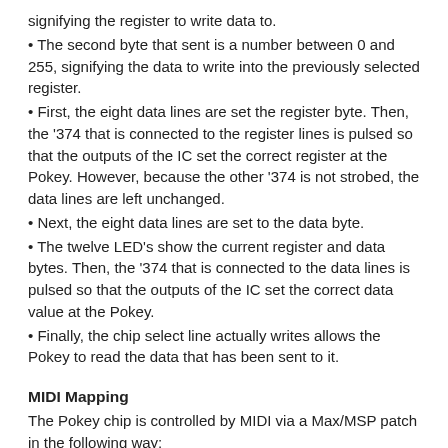signifying the register to write data to.
The second byte that sent is a number between 0 and 255, signifying the data to write into the previously selected register.
First, the eight data lines are set the register byte. Then, the '374 that is connected to the register lines is pulsed so that the outputs of the IC set the correct register at the Pokey. However, because the other '374 is not strobed, the data lines are left unchanged.
Next, the eight data lines are set to the data byte.
The twelve LED's show the current register and data bytes. Then, the '374 that is connected to the data lines is pulsed so that the outputs of the IC set the correct data value at the Pokey.
Finally, the chip select line actually writes allows the Pokey to read the data that has been sent to it.
MIDI Mapping
The Pokey chip is controlled by MIDI via a Max/MSP patch in the following way:
Pitch is scaled from 0 to 127 to 0 to 255 and is mapped to